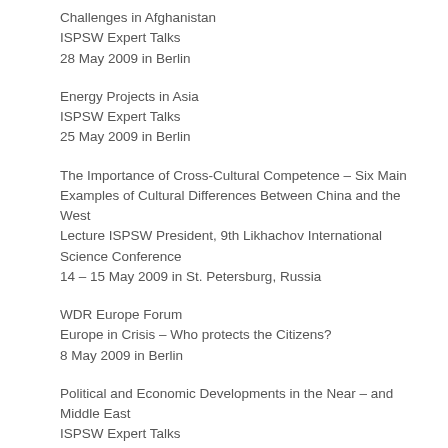Challenges in Afghanistan
ISPSW Expert Talks
28 May 2009 in Berlin
Energy Projects in Asia
ISPSW Expert Talks
25 May 2009 in Berlin
The Importance of Cross-Cultural Competence – Six Main Examples of Cultural Differences Between China and the West
Lecture ISPSW President, 9th Likhachov International Science Conference
14 – 15 May 2009 in St. Petersburg, Russia
WDR Europe Forum
Europe in Crisis – Who protects the Citizens?
8 May 2009 in Berlin
Political and Economic Developments in the Near – and Middle East
ISPSW Expert Talks
4 May 2009 in Berlin
Investment Opportunities in Africa